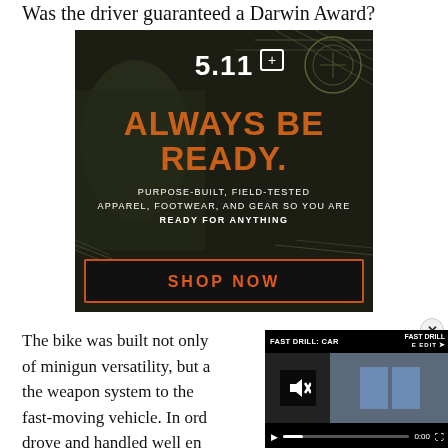Was the driver guaranteed a Darwin Award?
[Figure (photo): 5.11 Tactical advertisement with dark military background. Text reads: '5.11 [logo]', 'ALWAYS BE READY', 'PURPOSE-BUILT, FIELD-TESTED APPAREL, FOOTWEAR, AND GEAR SO YOU ARE READY FOR ANYTHING', and a 'SHOP NOW' button with orange border.]
The bike was built not only of minigun versatility, but a the weapon system to the fast-moving vehicle. In ord drove and handled well en
[Figure (screenshot): Video player overlay showing 'FAST DRILL: CAR' title with muted audio icon, two blue shooting targets on sandy background, play button, progress bar at 0:00, and fullscreen button.]